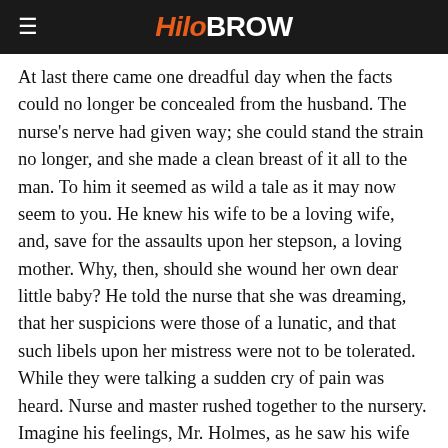HiloBrow
At last there came one dreadful day when the facts could no longer be concealed from the husband. The nurse's nerve had given way; she could stand the strain no longer, and she made a clean breast of it all to the man. To him it seemed as wild a tale as it may now seem to you. He knew his wife to be a loving wife, and, save for the assaults upon her stepson, a loving mother. Why, then, should she wound her own dear little baby? He told the nurse that she was dreaming, that her suspicions were those of a lunatic, and that such libels upon her mistress were not to be tolerated. While they were talking a sudden cry of pain was heard. Nurse and master rushed together to the nursery. Imagine his feelings, Mr. Holmes, as he saw his wife rise from a kneeling